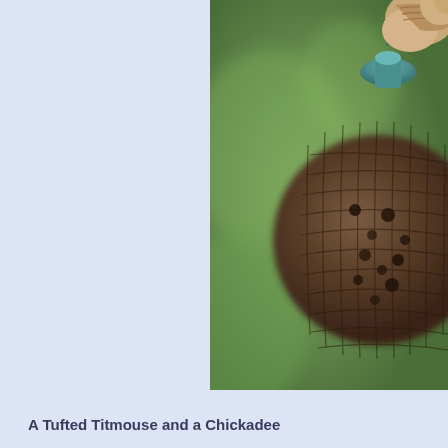[Figure (photo): Close-up photograph of a bird (Tufted Titmouse or Chickadee) perched on a spherical mesh seed feeder ball with a teal/blue-green metal top hook, set against a blurred green bokeh background. The bird is partially visible at the top right, with brown/rust coloring. The mesh feeder contains dark seeds.]
A Tufted Titmouse and a Chickadee